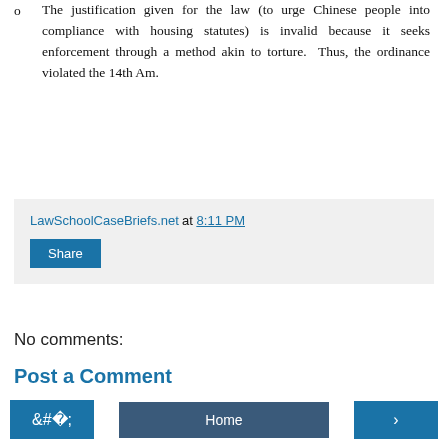The justification given for the law (to urge Chinese people into compliance with housing statutes) is invalid because it seeks enforcement through a method akin to torture. Thus, the ordinance violated the 14th Am.
LawSchoolCaseBriefs.net at 8:11 PM
Share
No comments:
Post a Comment
Home
View web version
Powered by Blogger.